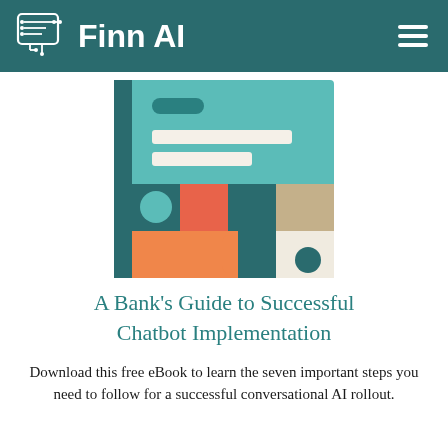Finn AI
[Figure (illustration): Abstract geometric book cover illustration with teal, orange, dark teal, cream, and red square/circle shapes on a teal background]
A Bank's Guide to Successful Chatbot Implementation
Download this free eBook to learn the seven important steps you need to follow for a successful conversational AI rollout.